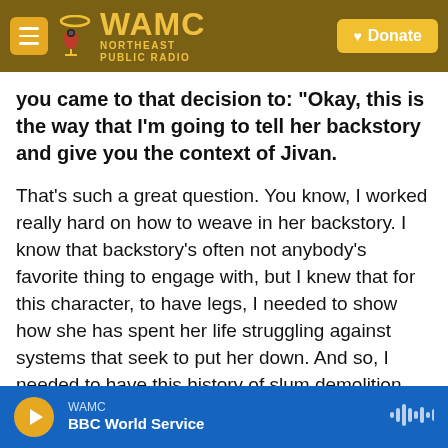WAMC Northeast Public Radio — Donate
you came to that decision to: "Okay, this is the way that I'm going to tell her backstory and give you the context of Jivan.
That's such a great question. You know, I worked really hard on how to weave in her backstory. I know that backstory's often not anybody's favorite thing to engage with, but I knew that for this character, to have legs, I needed to show how she has spent her life struggling against systems that seek to put her down. And so, I needed to have this history of slum demolition, seeking a water supply speaking up before doctors who don't believe you
WAMC — BBC World Service